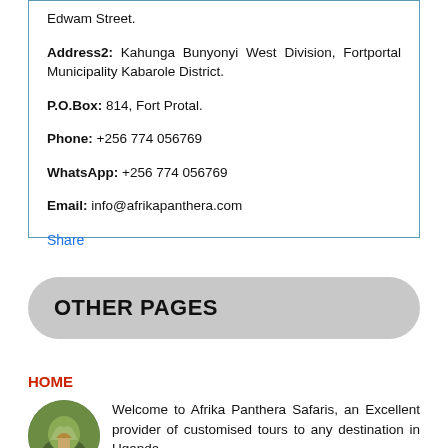Edwam Street.
Address2: Kahunga Bunyonyi West Division, Fortportal Municipality Kabarole District.
P.O.Box: 814, Fort Protal.
Phone: +256 774 056769
WhatsApp: +256 774 056769
Email: info@afrikapanthera.com
Share
OTHER PAGES
HOME
Welcome to Afrika Panthera Safaris, an Excellent provider of customised tours to any destination in Uganda.